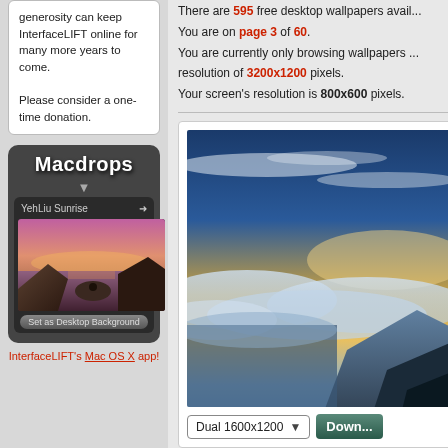generosity can keep InterfaceLIFT online for many more years to come.

Please consider a one-time donation.
[Figure (screenshot): Macdrops Mac OS X app widget showing 'YehLiu Sunrise' wallpaper with a sunset beach scene and 'Set as Desktop Background' button]
InterfaceLIFT's Mac OS X app!
There are 595 free desktop wallpapers avail...
You are on page 3 of 60.
You are currently only browsing wallpapers ... resolution of 3200x1200 pixels.
Your screen's resolution is 800x600 pixels.
[Figure (photo): Dramatic landscape photo showing mountains with sea of clouds under a vibrant blue and golden sky at sunrise or sunset]
Dual 1600x1200  [dropdown]  Down...